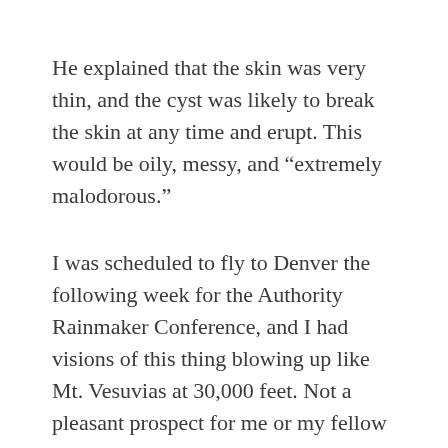He explained that the skin was very thin, and the cyst was likely to break the skin at any time and erupt. This would be oily, messy, and “extremely malodorous.”
I was scheduled to fly to Denver the following week for the Authority Rainmaker Conference, and I had visions of this thing blowing up like Mt. Vesuvias at 30,000 feet. Not a pleasant prospect for me or my fellow passengers.
I explained this to him, and he kindly cleared some room in his schedule that afternoon, took me across the hall to where he had the proper lights and equipment, and removed it then and